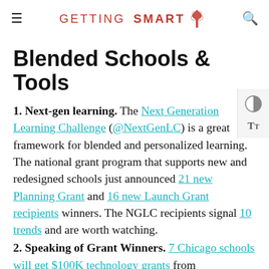GETTING SMART
Blended Schools & Tools
1. Next-gen learning. The Next Generation Learning Challenge (@NextGenLC) is a great framework for blended and personalized learning. The national grant program that supports new and redesigned schools just announced 21 new Planning Grant and 16 new Launch Grant recipients winners. The NGLC recipients signal 10 trends and are worth watching.
2. Speaking of Grant Winners. 7 Chicago schools will get $100K technology grants from